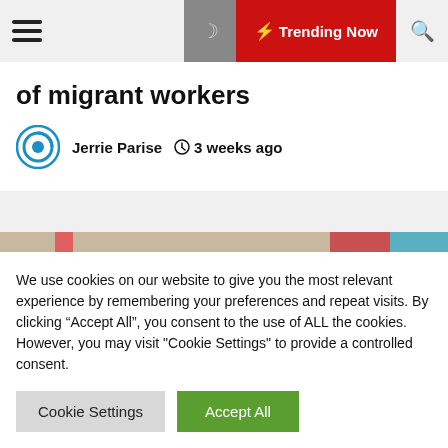Trending Now
of migrant workers
Jerrie Parise   3 weeks ago
[Figure (photo): Partially visible image showing colorful background, mostly obscured by a gray overlay]
We use cookies on our website to give you the most relevant experience by remembering your preferences and repeat visits. By clicking “Accept All”, you consent to the use of ALL the cookies. However, you may visit "Cookie Settings" to provide a controlled consent.